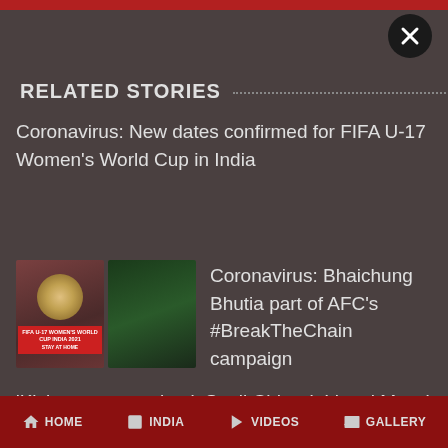RELATED STORIES
Coronavirus: New dates confirmed for FIFA U-17 Women's World Cup in India
[Figure (photo): Two thumbnail images: a FIFA U-17 Women's World Cup logo with Stay At Home text, and a football player in blue jersey]
Coronavirus: Bhaichung Bhutia part of AFC's #BreakTheChain campaign
'Kick out coronavirus': Sunil Chhetri, Lionel Messi chosen for FIFA-WHO campaign
Legendary Indian footballer PK Banerjee breathes his last at 83
HOME  INDIA  VIDEOS  GALLERY